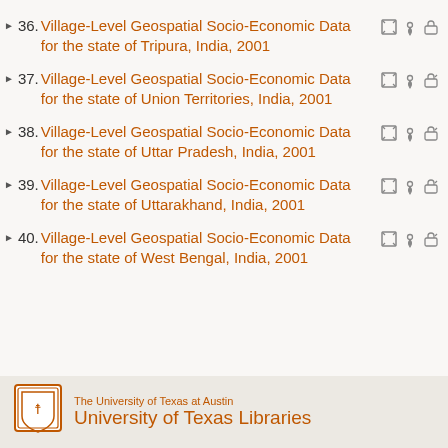36. Village-Level Geospatial Socio-Economic Data for the state of Tripura, India, 2001
37. Village-Level Geospatial Socio-Economic Data for the state of Union Territories, India, 2001
38. Village-Level Geospatial Socio-Economic Data for the state of Uttar Pradesh, India, 2001
39. Village-Level Geospatial Socio-Economic Data for the state of Uttarakhand, India, 2001
40. Village-Level Geospatial Socio-Economic Data for the state of West Bengal, India, 2001
The University of Texas at Austin — University of Texas Libraries